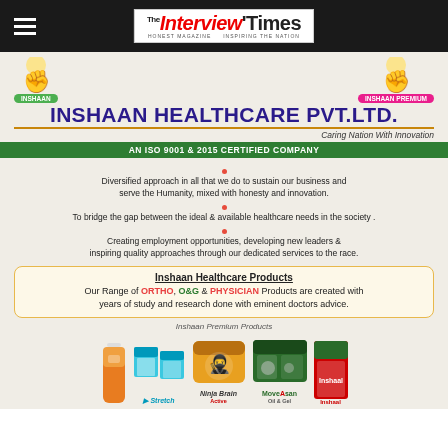The Interview Times — HONEST MAGAZINE — INSPIRING THE NATION
[Figure (illustration): Inshaan Healthcare brand section with fist logos, INSHAAN and INSHAAN PREMIUM badges, company title INSHAAN HEALTHCARE PVT.LTD. with tagline Caring Nation With Innovation]
AN ISO 9001 & 2015 CERTIFIED COMPANY
Diversified approach in all that we do to sustain our business and serve the Humanity, mixed with honesty and innovation.
To bridge the gap between the ideal & available healthcare needs in the society .
Creating employment opportunities, developing new leaders & inspiring quality approaches through our dedicated services to the race.
Inshaan Healthcare Products
Our Range of ORTHO, O&G & PHYSICIAN Products are created with years of study and research done with eminent doctors advice.
Inshaan Premium Products
[Figure (photo): Product images showing Stretch, Ninja Brain Active, MoveAsan Oil & Gel, and Inshaal products]